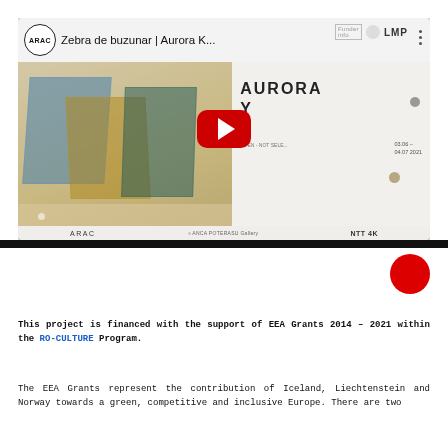[Figure (screenshot): YouTube video thumbnail for 'Zebra de buzunar | Aurora K...' showing a glass sculpture artwork with blue, amber, and teal colored glass panels. The right side shows 'AURORA' text, ARAC logo, date info '03.06 - 04.07 2021', and bottom logos including ARAC, ANCA POTERASU Gallery, NTT 4K. A red YouTube play button is centered on the thumbnail.]
[Figure (other): Red circular dot/button element below the video dark bar]
This project is financed with the support of EEA Grants 2014 – 2021 within the RO-CULTURE Program.
The EEA Grants represent the contribution of Iceland, Liechtenstein and Norway towards a green, competitive and inclusive Europe. There are two